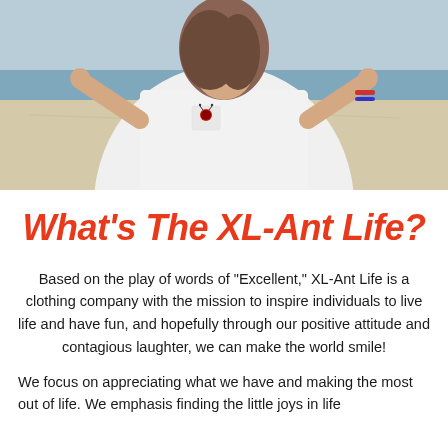[Figure (photo): Young woman at the beach wearing a white t-shirt with XL-Ant Life logo on the chest pocket, holding the shirt out with both hands, smiling.]
What's The XL-Ant Life?
Based on the play of words of "Excellent," XL-Ant Life is a clothing company with the mission to inspire individuals to live life and have fun, and hopefully through our positive attitude and contagious laughter, we can make the world smile!
We focus on appreciating what we have and making the most out of life. We emphasis finding the little joys in life